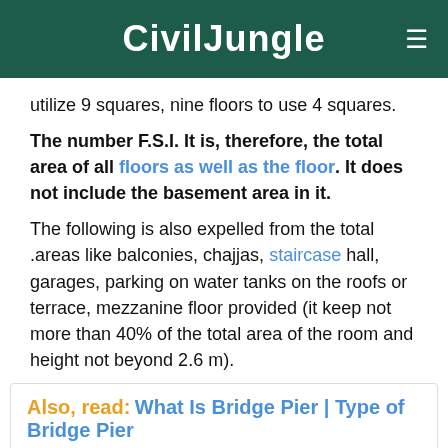CivilJungle
utilize 9 squares, nine floors to use 4 squares.
The number F.S.I. It is, therefore, the total area of all floors as well as the floor. It does not include the basement area in it.
The following is also expelled from the total .areas like balconies, chajjas, staircase hall, garages, parking on water tanks on the roofs or terrace, mezzanine floor provided (it keep not more than 40% of the total area of the room and height not beyond 2.6 m).
Also, read: What Is Bridge Pier | Type of Bridge Pier